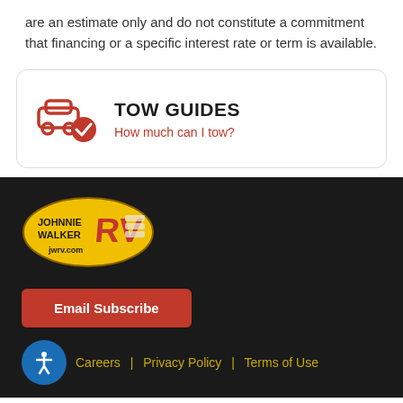are an estimate only and do not constitute a commitment that financing or a specific interest rate or term is available.
[Figure (infographic): Tow Guides card with car and checkmark icon, title TOW GUIDES, and link 'How much can I tow?']
[Figure (logo): Johnnie Walker RV logo - yellow oval with JOHNNIE WALKER text and RV in red, jwrv.com]
Email Subscribe
Careers | Privacy Policy | Terms of Use